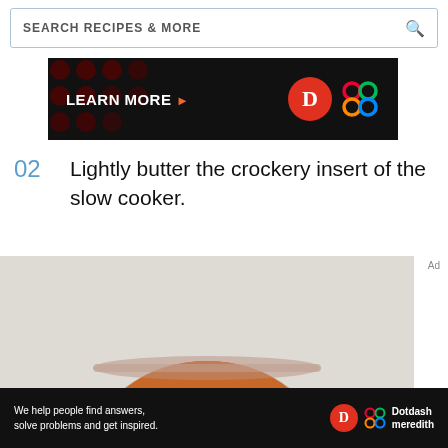[Figure (screenshot): Search bar with text SEARCH RECIPES & MORE and a magnifying glass icon]
[Figure (infographic): Dark advertisement banner with LEARN MORE text and Dotdash Meredith logos]
02  Lightly butter the crockery insert of the slow cooker.
[Figure (photo): Top-down photo of an orange/russet food mixture in a glass jar, on a light gray surface]
[Figure (infographic): Bottom advertisement banner: We help people find answers, solve problems and get inspired. Dotdash meredith logo.]